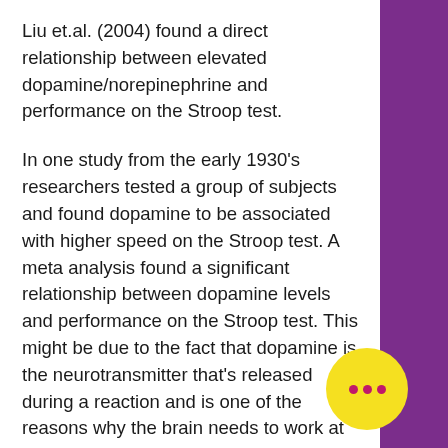Liu et.al. (2004) found a direct relationship between elevated dopamine/norepinephrine and performance on the Stroop test.
In one study from the early 1930's researchers tested a group of subjects and found dopamine to be associated with higher speed on the Stroop test. A meta analysis found a significant relationship between dopamine levels and performance on the Stroop test. This might be due to the fact that dopamine is the neurotransmitter that's released during a reaction and is one of the reasons why the brain needs to work at an optimal speed during a test.
Dopamine levels are increased after a training session and a higher degree of arousal (dopamine being a hormone) is associated with high performance. So there you have it – a high dopamine brain will